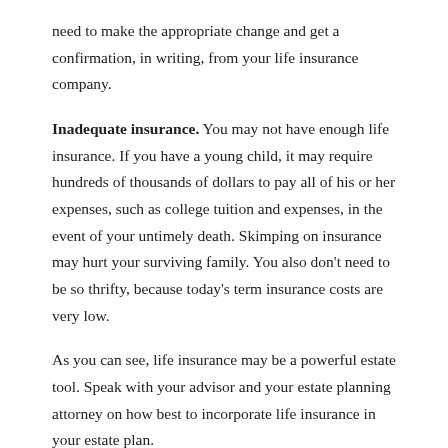need to make the appropriate change and get a confirmation, in writing, from your life insurance company.
Inadequate insurance. You may not have enough life insurance. If you have a young child, it may require hundreds of thousands of dollars to pay all of his or her expenses, such as college tuition and expenses, in the event of your untimely death. Skimping on insurance may hurt your surviving family. You also don't need to be so thrifty, because today's term insurance costs are very low.
As you can see, life insurance may be a powerful estate tool. Speak with your advisor and your estate planning attorney on how best to incorporate life insurance in your estate plan.
Reference: FedWeek (June 11, 2020) "Protect Your Estate With Life Insurance"